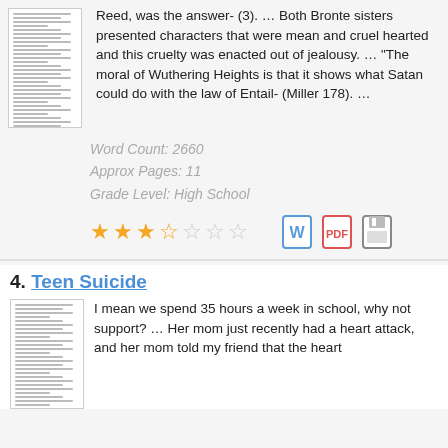Reed, was the answer- (3). … Both Bronte sisters presented characters that were mean and cruel hearted and this cruelty was enacted out of jealousy. … "The moral of Wuthering Heights is that it shows what Satan could do with the law of Entail- (Miller 178). …
Word Count: 2660
Approx Pages: 11
Grade Level: High School
[Figure (infographic): 3.5 out of 5 stars rating display with Word document, PDF, and save icons]
4. Teen Suicide
I mean we spend 35 hours a week in school, why not support? … Her mom just recently had a heart attack, and her mom told my friend that the heart